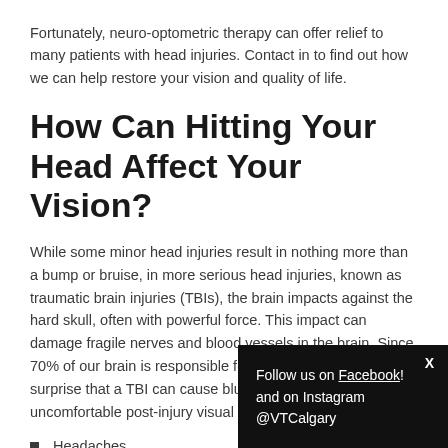Fortunately, neuro-optometric therapy can offer relief to many patients with head injuries. Contact in to find out how we can help restore your vision and quality of life.
How Can Hitting Your Head Affect Your Vision?
While some minor head injuries result in nothing more than a bump or bruise, in more serious head injuries, known as traumatic brain injuries (TBIs), the brain impacts against the hard skull, often with powerful force. This impact can damage fragile nerves and blood vessels in the brain. Since 70% of our brain is responsible for visual processing, it’s no surprise that a TBI can cause blurred vision and other uncomfortable post-injury visual symptoms, such as:
Headaches
Eyestrain
Sensitivity to light
Follow us on Facebook! and on Instagram @VTCalgary